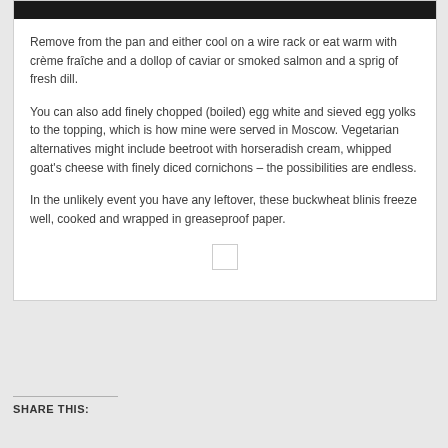[Figure (photo): Dark food photograph at top of card, partially visible as a strip]
Remove from the pan and either cool on a wire rack or eat warm with crème fraîche and a dollop of caviar or smoked salmon and a sprig of fresh dill.
You can also add finely chopped (boiled) egg white and sieved egg yolks to the topping, which is how mine were served in Moscow. Vegetarian alternatives might include beetroot with horseradish cream, whipped goat's cheese with finely diced cornichons – the possibilities are endless.
In the unlikely event you have any leftover, these buckwheat blinis freeze well, cooked and wrapped in greaseproof paper.
SHARE THIS: